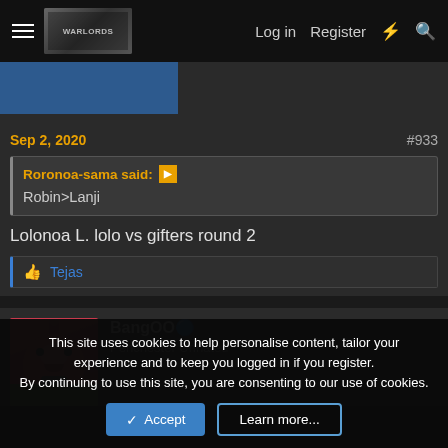Log in  Register
[Figure (screenshot): Forum navigation bar with hamburger menu, banner image, Log in, Register links and icons]
Sep 2, 2020  #933
Roronoa-sama said: ↗
Robin>Lanji
Lolonoa L. lolo vs gifters round 2
👍 Tejas
BangOO🔵
Penchester Urinated
This site uses cookies to help personalise content, tailor your experience and to keep you logged in if you register.
By continuing to use this site, you are consenting to our use of cookies.
Accept  Learn more...